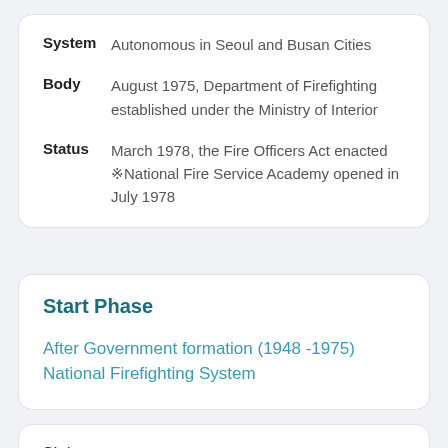System   Autonomous in Seoul and Busan Cities
Body   August 1975, Department of Firefighting established under the Ministry of Interior
Status   March 1978, the Fire Officers Act enacted ※National Fire Service Academy opened in July 1978
Start Phase
After Government formation (1948 -1975) National Firefighting System
Status   National : Firefighting Division at the Department